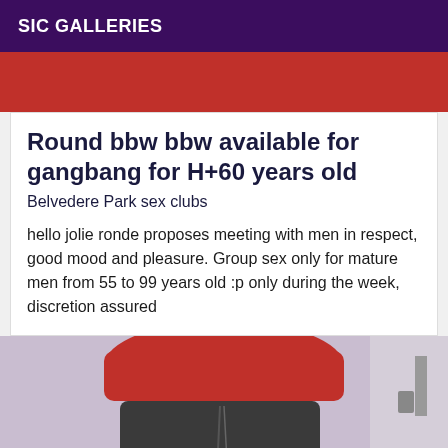SIC GALLERIES
[Figure (photo): Top portion of a red garment, cropped image at top of page]
Round bbw bbw available for gangbang for H+60 years old
Belvedere Park sex clubs
hello jolie ronde proposes meeting with men in respect, good mood and pleasure. Group sex only for mature men from 55 to 99 years old :p only during the week, discretion assured
[Figure (photo): Person from behind wearing red top and dark jeans, standing in a room with light purple walls]